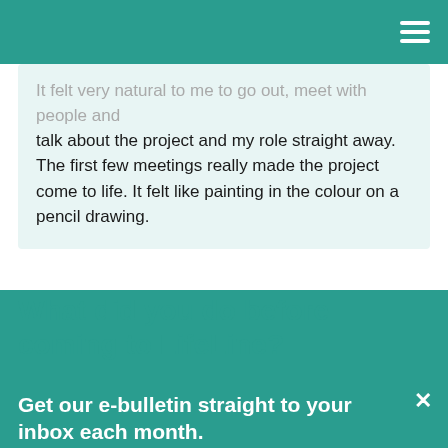It felt very natural to me to go out, meet with people and talk about the project and my role straight away. The first few meetings really made the project come to life. It felt like painting in the colour on a pencil drawing.
What did you do before coming to LifeLine?
Get our e-bulletin straight to your inbox each month.
Plus we'll send you our simple one-page guide to different types of mentoring as a thanks for signing up!